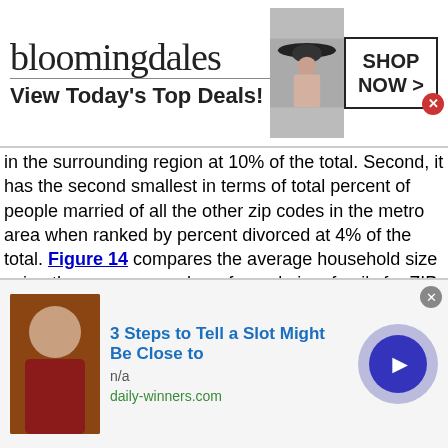[Figure (other): Bloomingdale's advertisement banner: 'bloomingdales / View Today's Top Deals!' with model image and 'SHOP NOW >' button]
in the surrounding region at 10% of the total. Second, it has the second smallest in terms of total percent of people married of all the other zip codes in the metro area when ranked by percent divorced at 4% of the total. Figure 14 compares the average household size using the average number of people in a family for ZIP code 45821 households. 45821 depicts it has a Family Size of 2.6 which is the smallest in order of average family size of all the other zip codes in the metro area. The zip code with the highest average family size in the area is 43556 which depicts an average family size of 3.1 (21.0% larger).
Figure 15 shows the overall ratio of ZIP code 45821
[Figure (other): Advertisement overlay: '3 Steps to Tell a Slot Might Be Close to' with man's photo, n/a, daily-winners.com, and play button]